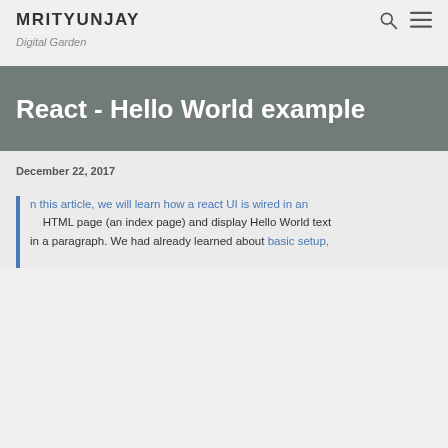MRITYUNJAY
Digital Garden
React - Hello World example
December 22, 2017
In this article, we will learn how a react UI is wired in an HTML page (an index page) and display Hello World text in a paragraph. We had already learned about basic setup,